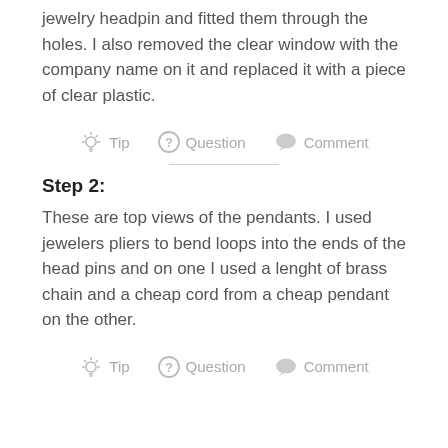jewelry headpin and fitted them through the holes. I also removed the clear window with the company name on it and replaced it with a piece of clear plastic.
[Figure (infographic): Icon bar with lightbulb Tip, question mark Question, and speech bubble Comment icons]
Step 2:
These are top views of the pendants. I used jewelers pliers to bend loops into the ends of the head pins and on one I used a lenght of brass chain and a cheap cord from a cheap pendant on the other.
[Figure (infographic): Icon bar with lightbulb Tip, question mark Question, and speech bubble Comment icons]